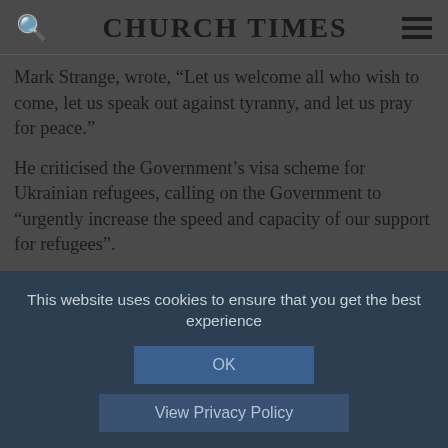CHURCH TIMES
Mark Strange, wrote, “Let us welcome all who wish to come, let us speak out against tyranny, and let us pray for peace.”
He criticised the Government’s visa scheme for Ukrainian refugees, calling on the Government to “urgently increase the speed and capacity of our support for refugees”.
The motion was carried unanimously.
Click here for more coverage of the SEC synod
This website uses cookies to ensure that you get the best experience